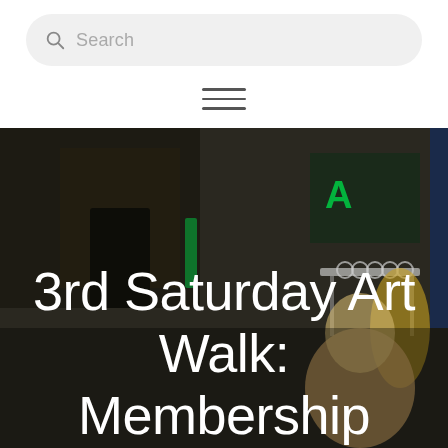[Figure (screenshot): Search bar UI element with magnifying glass icon and placeholder text 'Search']
[Figure (screenshot): Hamburger menu icon with three horizontal lines]
[Figure (photo): Street scene photo showing people shopping outdoors at night, with neon signs and clothing racks visible. Two women in the foreground.]
3rd Saturday Art Walk: Membership